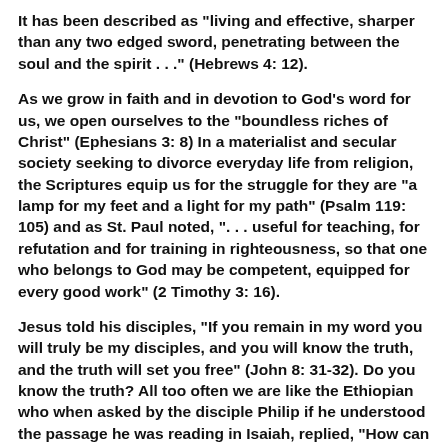It has been described as "living and effective, sharper than any two edged sword, penetrating between the soul and the spirit . . ." (Hebrews 4: 12).
As we grow in faith and in devotion to God's word for us, we open ourselves to the "boundless riches of Christ" (Ephesians 3: 8) In a materialist and secular society seeking to divorce everyday life from religion, the Scriptures equip us for the struggle for they are "a lamp for my feet and a light for my path" (Psalm 119: 105) and as St. Paul noted, ". . . useful for teaching, for refutation and for training in righteousness, so that one who belongs to God may be competent, equipped for every good work" (2 Timothy 3: 16).
Jesus told his disciples, "If you remain in my word you will truly be my disciples, and you will know the truth, and the truth will set you free" (John 8: 31-32). Do you know the truth? All too often we are like the Ethiopian who when asked by the disciple Philip if he understood the passage he was reading in Isaiah, replied, "How can I unless some one guides me" (Acts 8: 17). Are